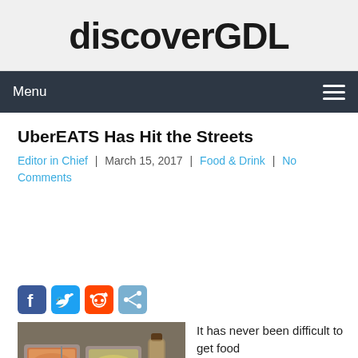discoverGDL
Menu
UberEATS Has Hit the Streets
Editor in Chief | March 15, 2017 | Food & Drink | No Comments
[Figure (other): Social sharing icons: Facebook, Twitter, Reddit, Share]
[Figure (photo): Food delivery trays with meals in foil containers]
It has never been difficult to get food